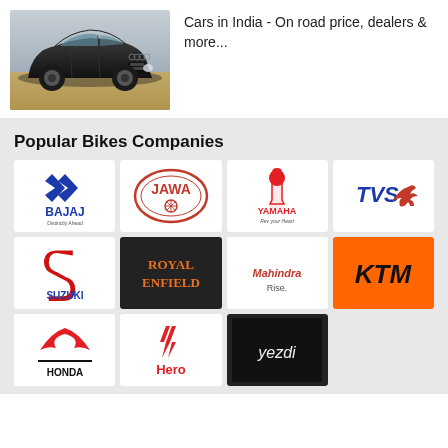[Figure (photo): Black Audi car on road, side-front view]
Cars in India - On road price, dealers & more...
Popular Bikes Companies
[Figure (logo): Bajaj logo - blue chevron shape with BAJAJ text and Distinctly Ahead tagline]
[Figure (logo): Jawa logo - oval red border with JAWA text and wheel emblem]
[Figure (logo): Yamaha logo - red tuning fork symbol with YAMAHA text and Rev your Heart tagline]
[Figure (logo): TVS logo - blue TVS text with running horse in red]
[Figure (logo): Suzuki logo - red S emblem with SUZUKI text]
[Figure (logo): Royal Enfield logo - dark background with orange ROYAL ENFIELD text]
[Figure (logo): Mahindra Rise logo - red Mahindra text with Rise tagline]
[Figure (logo): KTM logo - orange background with black KTM text]
[Figure (logo): Honda logo - red wing emblem with HONDA text]
[Figure (logo): Hero logo - red H chevron with Hero text]
[Figure (logo): Yezdi logo - black background with yezdi text in white]